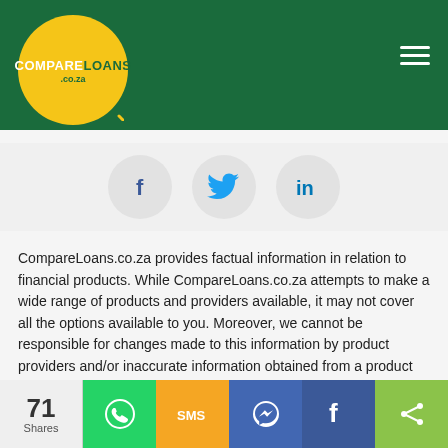[Figure (logo): CompareLoans.co.za logo — white text on dark green header background, logo circle is yellow/gold with green text]
[Figure (infographic): Three social share icon circles: Facebook (f), Twitter (bird), LinkedIn (in) on light grey background]
CompareLoans.co.za provides factual information in relation to financial products. While CompareLoans.co.za attempts to make a wide range of products and providers available, it may not cover all the options available to you. Moreover, we cannot be responsible for changes made to this information by product providers and/or inaccurate information obtained from a product provider. All product information comes from the produc provider or publicly available information and to the best of our knowledge is correct at the time of publishing. The information published on CompareLoans.co.za is general in nature only and does not consider your personal objectives, financial situation or particular needs and is not recommending any particular product to you. If you decide to apply for a product you will be dealing directly with the...
[Figure (infographic): Bottom share bar showing 71 Shares with WhatsApp, SMS, Messenger, Facebook, and share icons]